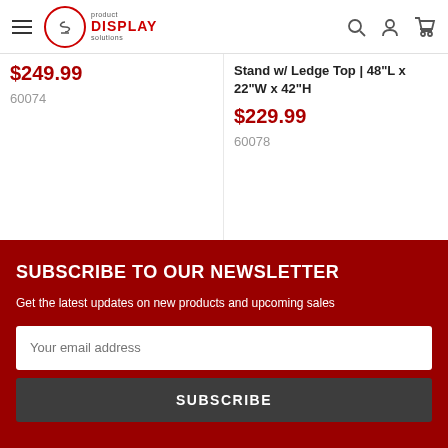product DISPLAY solutions
$249.99
60074
Stand w/ Ledge Top | 48"L x 22"W x 42"H
$229.99
60078
SUBSCRIBE TO OUR NEWSLETTER
Get the latest updates on new products and upcoming sales
Your email address
SUBSCRIBE